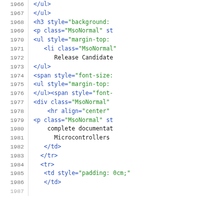[Figure (screenshot): Source code viewer showing HTML/XML code with line numbers 1966-1986. Line numbers on left in gray, code on right with syntax highlighting: HTML tags in blue, attribute values in green, plain text in black.]